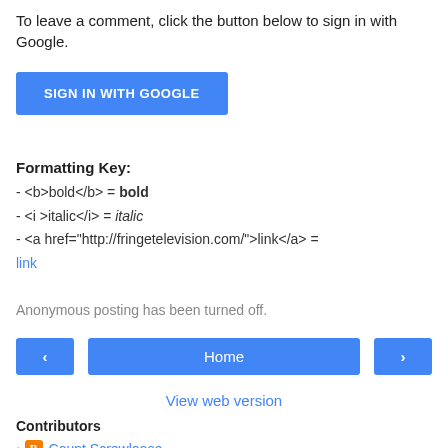To leave a comment, click the button below to sign in with Google.
[Figure (other): Blue 'SIGN IN WITH GOOGLE' button]
Formatting Key:
- <b>bold</b> = bold
- <i >italic</i> = italic
- <a href="http://fringetelevision.com/">link</a> = link
Anonymous posting has been turned off.
[Figure (other): Navigation row with left arrow button, Home button, and right arrow button]
View web version
Contributors
Count Screwloose